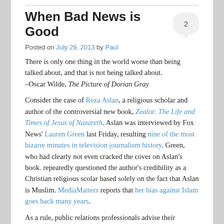When Bad News is Good
Posted on July 29, 2013 by Paul
There is only one thing in the world worse than being talked about, and that is not being talked about.
–Oscar Wilde, The Picture of Dorian Gray
Consider the case of Reza Aslan, a religious scholar and author of the controversial new book, Zealot: The Life and Times of Jesus of Nazareth. Aslan was interviewed by Fox News' Lauren Green last Friday, resulting nine of the most bizarre minutes in television journalism history. Green, who had clearly not even cracked the cover on Aslan's book. repeatedly questioned the author's credibility as a Christian religious scolar based solely on the fact that Aslan is Muslim. MediaMatters reports that her bias against Islam goes back many years.
As a rule, public relations professionals advise their